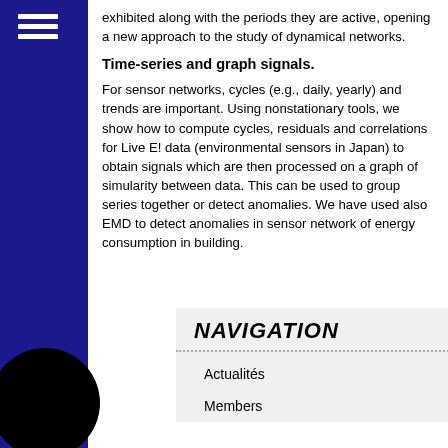exhibited along with the periods they are active, opening a new approach to the study of dynamical networks.
Time-series and graph signals.
For sensor networks, cycles (e.g., daily, yearly) and trends are important. Using nonstationary tools, we show how to compute cycles, residuals and correlations for Live E! data (environmental sensors in Japan) to obtain signals which are then processed on a graph of simularity between data. This can be used to group series together or detect anomalies. We have used also EMD to detect anomalies in sensor network of energy consumption in building.
NAVIGATION
Actualités
Members